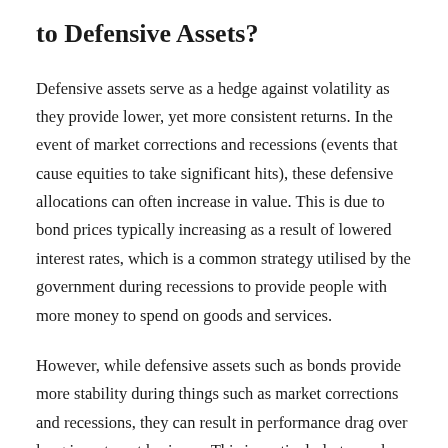to Defensive Assets?
Defensive assets serve as a hedge against volatility as they provide lower, yet more consistent returns. In the event of market corrections and recessions (events that cause equities to take significant hits), these defensive allocations can often increase in value. This is due to bond prices typically increasing as a result of lowered interest rates, which is a common strategy utilised by the government during recessions to provide people with more money to spend on goods and services.
However, while defensive assets such as bonds provide more stability during things such as market corrections and recessions, they can result in performance drag over long investment horizons. This is particularly true when compared to equities, which are one of the highest growth assets. As such, if you plan on investing for a